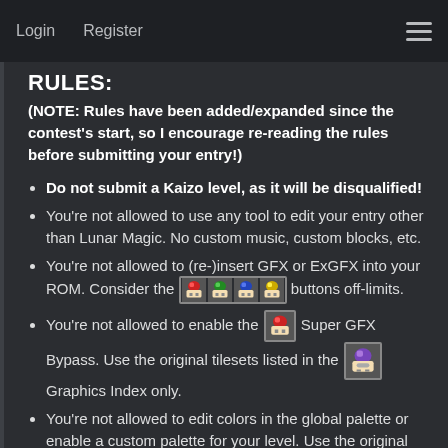Login   Register
RULES:
(NOTE: Rules have been added/expanded since the contest's start, so I encourage re-reading the rules before submitting your entry!)
Do not submit a Kaizo level, as it will be disqualified!
You're not allowed to use any tool to edit your entry other than Lunar Magic. No custom music, custom blocks, etc.
You're not allowed to (re-)insert GFX or ExGFX into your ROM. Consider the [mushroom buttons] buttons off-limits.
You're not allowed to enable the [Super GFX icon] Super GFX Bypass. Use the original tilesets listed in the [icon] Graphics Index only.
You're not allowed to edit colors in the global palette or enable a custom palette for your level. Use the original palette presets only.
You're not allowed to edit any Map16 tiles. You are